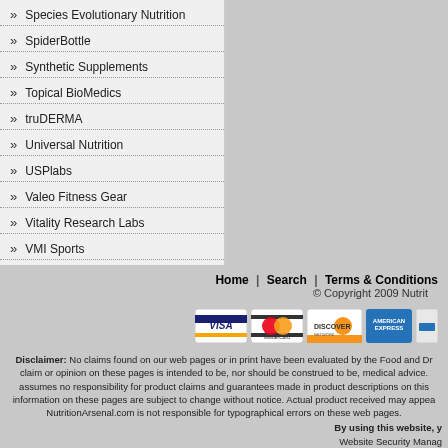» Species Evolutionary Nutrition
» SpiderBottle
» Synthetic Supplements
» Topical BioMedics
» truDERMA
» Universal Nutrition
» USPlabs
» Valeo Fitness Gear
» Vitality Research Labs
» VMI Sports
» VPX Sports
Home | Search | Terms & Conditions | © Copyright 2009 Nutrit...
[Figure (other): Payment method icons: Visa, MasterCard, Discover, American Express]
Disclaimer: No claims found on our web pages or in print have been evaluated by the Food and Dr... claim or opinion on these pages is intended to be, nor should be construed to be, medical advice.... assumes no responsibility for product claims and guarantees made in product descriptions on this... information on these pages are subject to change without notice. Actual product received may appea... NutritionArsenal.com is not responsible for typographical errors on these web pages... By using this website, y... Website Security Manag...